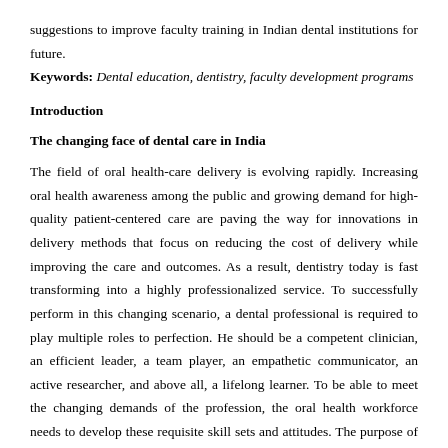suggestions to improve faculty training in Indian dental institutions for future.
Keywords: Dental education, dentistry, faculty development programs
Introduction
The changing face of dental care in India
The field of oral health-care delivery is evolving rapidly. Increasing oral health awareness among the public and growing demand for high-quality patient-centered care are paving the way for innovations in delivery methods that focus on reducing the cost of delivery while improving the care and outcomes. As a result, dentistry today is fast transforming into a highly professionalized service. To successfully perform in this changing scenario, a dental professional is required to play multiple roles to perfection. He should be a competent clinician, an efficient leader, a team player, an empathetic communicator, an active researcher, and above all, a lifelong learner. To be able to meet the changing demands of the profession, the oral health workforce needs to develop these requisite skill sets and attitudes. The purpose of education and training in any field is to ensure that on completion of the course, the individuals should demonstrate the desired outcomes and competencies required of that profession.